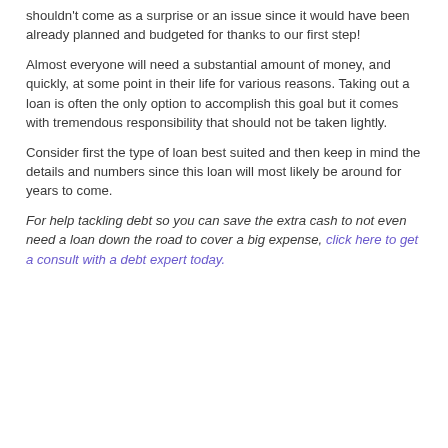shouldn't come as a surprise or an issue since it would have been already planned and budgeted for thanks to our first step!
Almost everyone will need a substantial amount of money, and quickly, at some point in their life for various reasons. Taking out a loan is often the only option to accomplish this goal but it comes with tremendous responsibility that should not be taken lightly.
Consider first the type of loan best suited and then keep in mind the details and numbers since this loan will most likely be around for years to come.
For help tackling debt so you can save the extra cash to not even need a loan down the road to cover a big expense, click here to get a consult with a debt expert today.